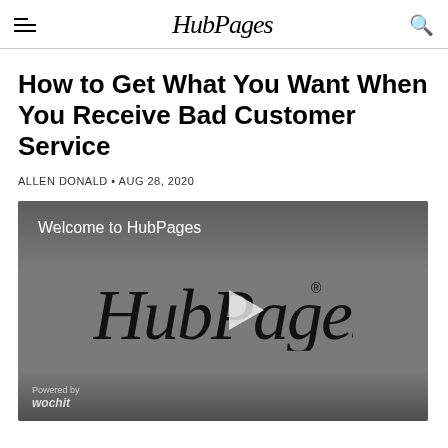HubPages
How to Get What You Want When You Receive Bad Customer Service
ALLEN DONALD • AUG 28, 2020
[Figure (screenshot): Video player showing 'Welcome to HubPages' with HubPages logo and play button overlay, wochit branding at bottom left]